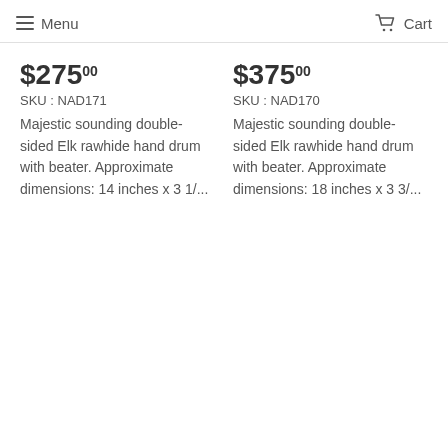≡ Menu   Cart
$275.00
SKU : NAD171
Majestic sounding double-sided Elk rawhide hand drum with beater. Approximate dimensions: 14 inches x 3 1/...
$375.00
SKU : NAD170
Majestic sounding double-sided Elk rawhide hand drum with beater. Approximate dimensions: 18 inches x 3 3/...